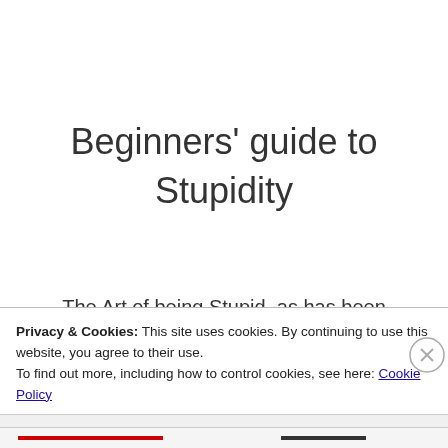Beginners' guide to Stupidity
The Art of being Stupid, as has been exemplified beyond normal human endeavor
Privacy & Cookies: This site uses cookies. By continuing to use this website, you agree to their use.
To find out more, including how to control cookies, see here: Cookie Policy
Close and accept